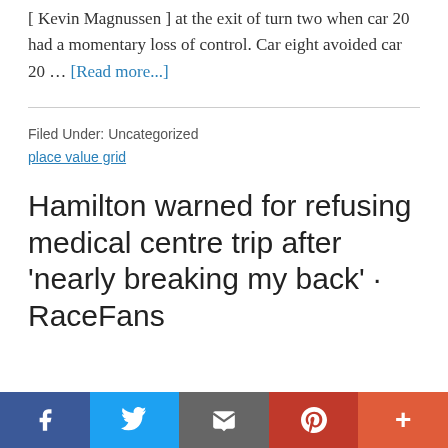[ Kevin Magnussen ] at the exit of turn two when car 20 had a momentary loss of control. Car eight avoided car 20 … [Read more...]
Filed Under: Uncategorized
place value grid
Hamilton warned for refusing medical centre trip after 'nearly breaking my back' · RaceFans
Social share bar: Facebook, Twitter, Email, Pinterest, More